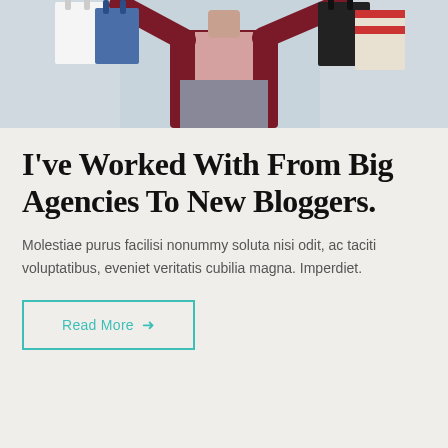[Figure (photo): Woman holding multiple shopping bags raised in the air, wearing a dark red jacket and grey skirt, cropped at torso level]
I've Worked With From Big Agencies To New Bloggers.
Molestiae purus facilisi nonummy soluta nisi odit, ac taciti voluptatibus, eveniet veritatis cubilia magna. Imperdiet.
Read More →